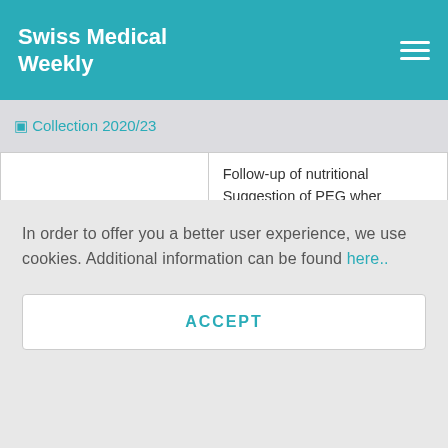Swiss Medical Weekly
⬡ Collection 2020/23
| Role | Responsibilities |
| --- | --- |
|  | Follow-up of nutritional
Suggestion of PEG wher
Prescription of oral nutr |
| Occupational therapist | In conjunction with phys
Communication |
In order to offer you a better user experience, we use cookies. Additional information can be found here..
ACCEPT